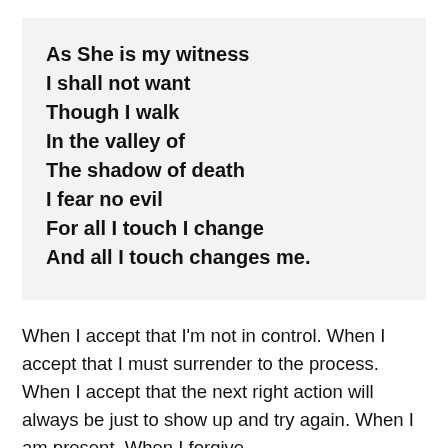As She is my witness
I shall not want
Though I walk
In the valley of
The shadow of death
I fear no evil
For all I touch I change
And all I touch changes me.
When I accept that I'm not in control. When I accept that I must surrender to the process. When I accept that the next right action will always be just to show up and try again. When I am present. When I forgive